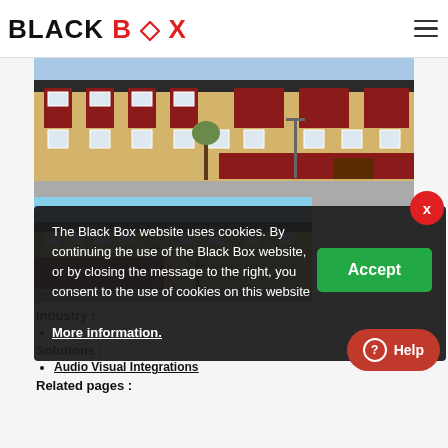BLACK BOX
[Figure (photo): Exterior photo of a school or industrial building with yellow and red brick facade, solar panels on roof, blue sky]
[Figure (photo): Second exterior photo of same building complex from a different angle, blue sky, bare trees]
Industry :
(bullet item partially hidden)
Solutions :
Audio Visual Integrations
Related pages :
The Black Box website uses cookies. By continuing the use of the Black Box website, or by closing the message to the right, you consent to the use of cookies on this website
More information.
Accept
Help